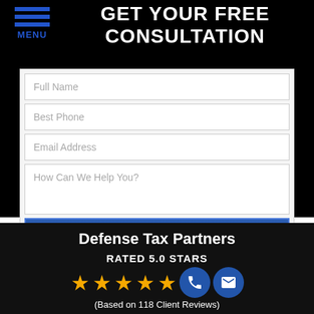GET YOUR FREE CONSULTATION
[Figure (other): Hamburger menu icon with three blue horizontal lines and MENU label]
[Figure (screenshot): Contact form with fields: Full Name, Best Phone, Email Address, How Can We Help You?, and a blue SUBMIT MY REQUEST button]
Defense Tax Partners
RATED 5.0 STARS
[Figure (other): Five gold stars with phone and email icon circles]
(Based on 118 Client Reviews)